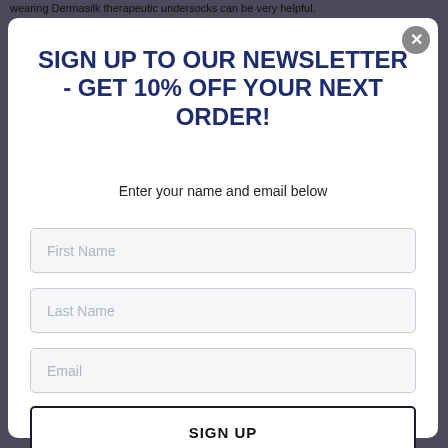wearing Dermasilk therapeutic undersocks can be very helpful.
SIGN UP TO OUR NEWSLETTER - GET 10% OFF YOUR NEXT ORDER!
Enter your name and email below
First Name
Last Name
Email
SIGN UP